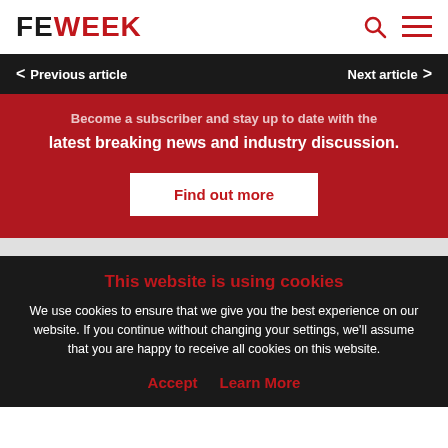FE WEEK
Previous article
Next article
Become a subscriber and stay up to date with the latest breaking news and industry discussion.
Find out more
This website is using cookies
We use cookies to ensure that we give you the best experience on our website. If you continue without changing your settings, we'll assume that you are happy to receive all cookies on this website.
Accept    Learn More